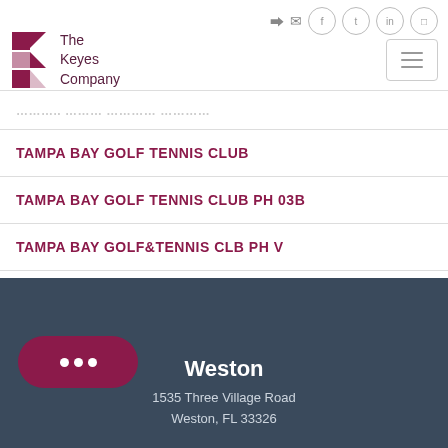[Figure (logo): The Keyes Company logo with stylized K in dark red/maroon and company name text]
TAMPA BAY GOLF TENNIS CLUB (partially visible/faded at top)
TAMPA BAY GOLF TENNIS CLUB
TAMPA BAY GOLF TENNIS CLUB PH 03B
TAMPA BAY GOLF&TENNIS CLB PH V
VIENNA SUB
Weston
1535 Three Village Road
Weston, FL 33326